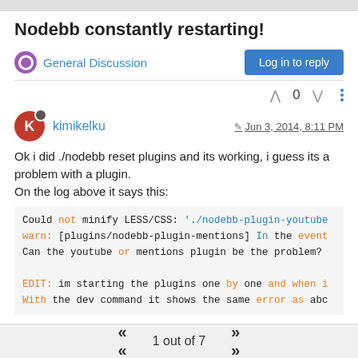Nodebb constantly restarting!
General Discussion
Log in to reply
0
kimikelku   Jun 3, 2014, 8:11 PM
Ok i did ./nodebb reset plugins and its working, i guess its a problem with a plugin.
On the log above it says this:
Could not minify LESS/CSS: './nodebb-plugin-youtube
warn: [plugins/nodebb-plugin-mentions] In the event
Can the youtube or mentions plugin be the problem?

EDIT: im starting the plugins one by one and when i
With the dev command it shows the same error as abc
1 out of 7